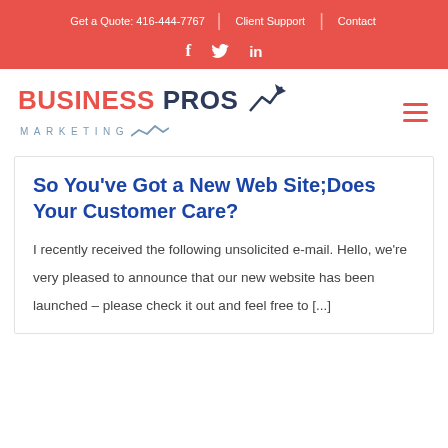Get a Quote: 416-444-7767 | Client Support | Contact
[Figure (logo): Social media icons: f (Facebook), bird (Twitter), in (LinkedIn) on red background]
[Figure (logo): Business Pros Marketing logo with arrow/chart graphic and hamburger menu icon]
So You've Got a New Web Site;Does Your Customer Care?
I recently received the following unsolicited e-mail. Hello, we're very pleased to announce that our new website has been launched – please check it out and feel free to [...]